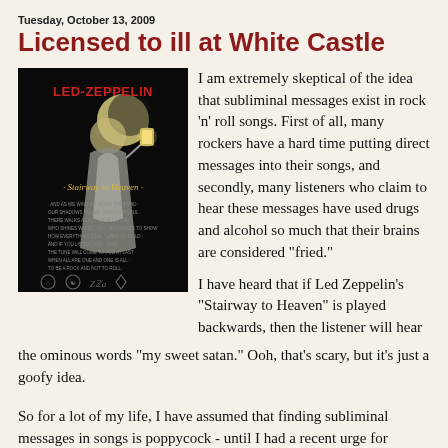Tuesday, October 13, 2009
Licensed to ill at White Castle
[Figure (illustration): Led Zeppelin Stairway to Heaven album/poster artwork showing a robed figure holding a lantern against a dark background with moon, band logos at bottom]
I am extremely skeptical of the idea that subliminal messages exist in rock 'n' roll songs. First of all, many rockers have a hard time putting direct messages into their songs, and secondly, many listeners who claim to hear these messages have used drugs and alcohol so much that their brains are considered "fried."
I have heard that if Led Zeppelin's "Stairway to Heaven" is played backwards, then the listener will hear the ominous words "my sweet satan." Ooh, that's scary, but it's just a goofy idea.
So for a lot of my life, I have assumed that finding subliminal messages in songs is poppycock - until I had a recent urge for